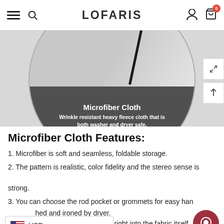LOFARIS
[Figure (photo): Product image showing microfiber cloth backdrop in a circular frame with dark overlay at bottom containing text: Microfiber Cloth - Wrinkle resistant heavy fleece cloth that is both washer and dryer safe. Seamless, soft, foldable, durable and easy to use.]
Microfiber Cloth Features:
1. Microfiber is soft and seamless, foldable storage.
2. The pattern is realistic, color fidelity and the stereo sense is strong.
3. You can choose the rod pocket or grommets for easy han
hed and ironed by dryer.
nted images are pressed right into the fabric itself